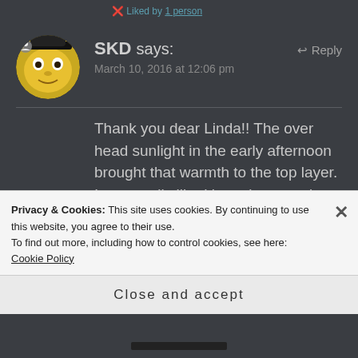Liked by 1 person
SKD says:
March 10, 2016 at 12:06 pm
Thank you dear Linda!! The over head sunlight in the early afternoon brought that warmth to the top layer. I personally liked it too but wasn't sure. Thank you so much once again. Have a wonderful day 💓
Privacy & Cookies: This site uses cookies. By continuing to use this website, you agree to their use.
To find out more, including how to control cookies, see here: Cookie Policy
Close and accept